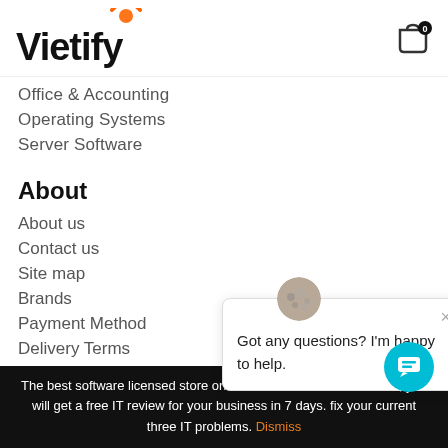Vietify
Office & Accounting
Operating Systems
Server Software
About
About us
Contact us
Site map
Brands
Payment Method
Delivery Terms
Return policy
[Figure (screenshot): Chat popup with avatar image and message: Got any questions? I'm happy to help.]
The best software licensed store online in Vietnam. Order from us, you will get a free IT review for your business in 7 days. fix your current three IT problems. Dismiss